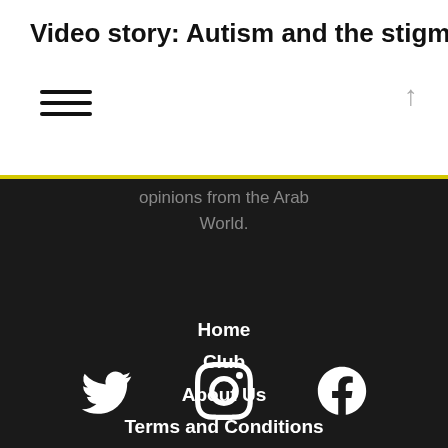Video story: Autism and the stigm...
opinions from the Arab World.
Home
Club
About Us
Terms and Conditions
Contact Us
[Figure (other): Twitter, Instagram, and Facebook social media icons in white on dark background]